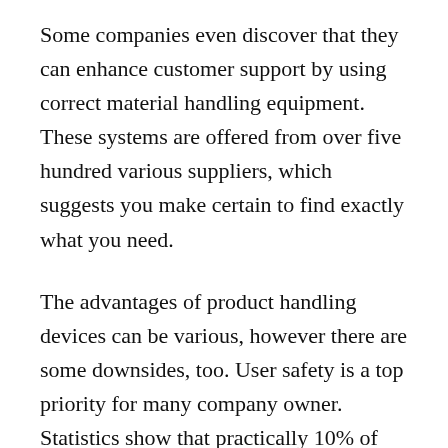Some companies even discover that they can enhance customer support by using correct material handling equipment. These systems are offered from over five hundred various suppliers, which suggests you make certain to find exactly what you need.
The advantages of product handling devices can be various, however there are some downsides, too. User safety is a top priority for many company owner. Statistics show that practically 10% of work environment injuries relate to activities like dealing with.